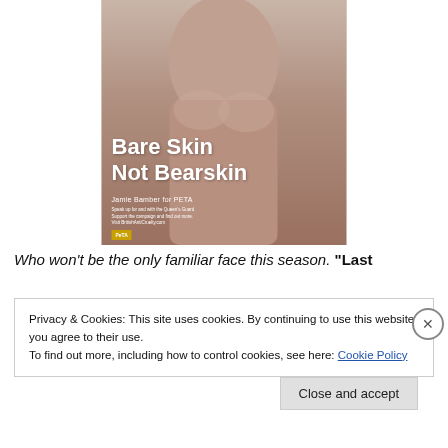[Figure (photo): PETA advertisement showing Jamie Bamber shirtless with text overlay 'Bare Skin Not Bearskin — Jamie Bamber for PETA' with small body text and PETA logo badge]
Who won't be the only familiar face this season. "Last
Privacy & Cookies: This site uses cookies. By continuing to use this website, you agree to their use.
To find out more, including how to control cookies, see here: Cookie Policy
Close and accept